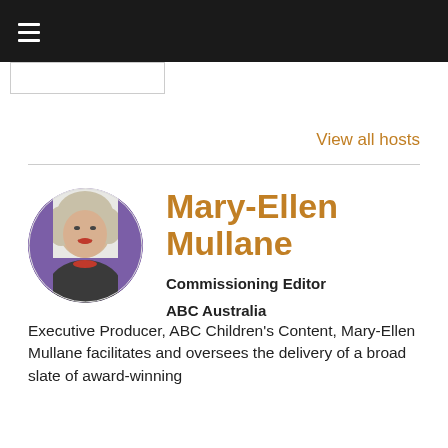≡
View all hosts
[Figure (photo): Circular profile photo of Mary-Ellen Mullane, a woman with short light blonde/grey hair, wearing a dark jacket and red necklace, against a purple and white background.]
Mary-Ellen Mullane
Commissioning Editor
ABC Australia
Executive Producer, ABC Children's Content, Mary-Ellen Mullane facilitates and oversees the delivery of a broad slate of award-winning